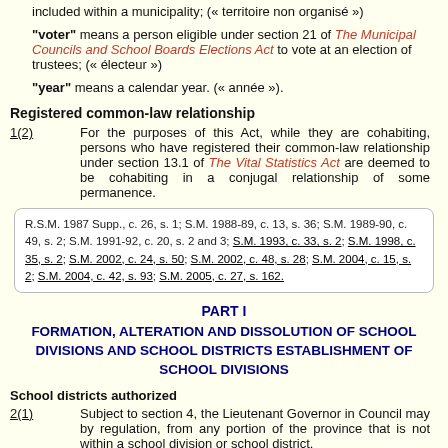included within a municipality; (« territoire non organisé »)
"voter" means a person eligible under section 21 of The Municipal Councils and School Boards Elections Act to vote at an election of trustees; (« électeur »)
"year" means a calendar year. (« année »).
Registered common-law relationship
1(2)   For the purposes of this Act, while they are cohabiting, persons who have registered their common-law relationship under section 13.1 of The Vital Statistics Act are deemed to be cohabiting in a conjugal relationship of some permanence.
R.S.M. 1987 Supp., c. 26, s. 1; S.M. 1988-89, c. 13, s. 36; S.M. 1989-90, c. 49, s. 2; S.M. 1991-92, c. 20, s. 2 and 3; S.M. 1993, c. 33, s. 2; S.M. 1998, c. 35, s. 2; S.M. 2002, c. 24, s. 50; S.M. 2002, c. 48, s. 28; S.M. 2004, c. 15, s. 2; S.M. 2004, c. 42, s. 93; S.M. 2005, c. 27, s. 162.
PART I
FORMATION, ALTERATION AND DISSOLUTION OF SCHOOL DIVISIONS AND SCHOOL DISTRICTS ESTABLISHMENT OF SCHOOL DIVISIONS
School districts authorized
2(1)   Subject to section 4, the Lieutenant Governor in Council may by regulation, from any portion of the province that is not within a school division or school district.